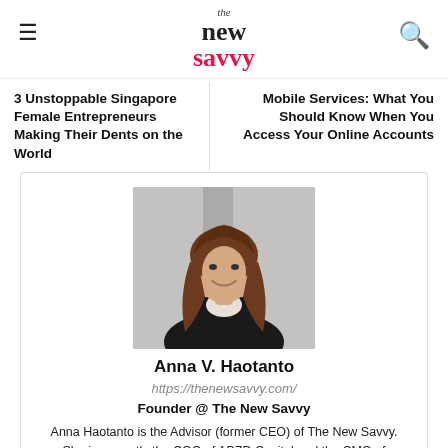the new savvy
3 Unstoppable Singapore Female Entrepreneurs Making Their Dents on the World
Mobile Services: What You Should Know When You Access Your Online Accounts
[Figure (photo): Portrait photo of Anna V. Haotanto, a woman with long brown hair wearing a dark blazer, smiling, in front of a blurred indoor background.]
Anna V. Haotanto
https://thenewsavvy.com/
Founder @ The New Savvy
Anna Haotanto is the Advisor (former CEO) of The New Savvy. She is currently the COO of ABZD Capital and the CMO of Gourmet Food Holdings, an investment firm